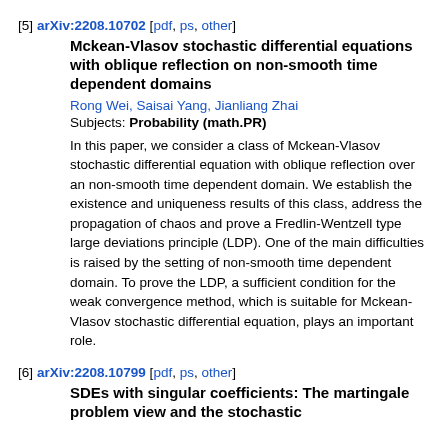[5] arXiv:2208.10702 [pdf, ps, other]
Mckean-Vlasov stochastic differential equations with oblique reflection on non-smooth time dependent domains
Rong Wei, Saisai Yang, Jianliang Zhai
Subjects: Probability (math.PR)
In this paper, we consider a class of Mckean-Vlasov stochastic differential equation with oblique reflection over an non-smooth time dependent domain. We establish the existence and uniqueness results of this class, address the propagation of chaos and prove a Fredlin-Wentzell type large deviations principle (LDP). One of the main difficulties is raised by the setting of non-smooth time dependent domain. To prove the LDP, a sufficient condition for the weak convergence method, which is suitable for Mckean-Vlasov stochastic differential equation, plays an important role.
[6] arXiv:2208.10799 [pdf, ps, other]
SDEs with singular coefficients: The martingale problem view and the stochastic characteristics